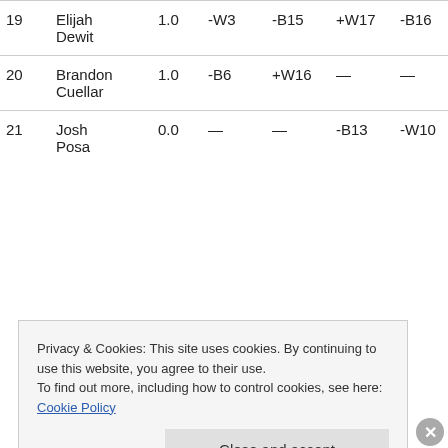| # | Name | Score | R1 | R2 | R3 | R4 | R5 |
| --- | --- | --- | --- | --- | --- | --- | --- |
| 19 | Elijah Dewit | 1.0 | -W3 | -B15 | +W17 | -B16 | -B |
| 20 | Brandon Cuellar | 1.0 | -B6 | +W16 | — | — | — |
| 21 | Josh Posa | 0.0 | — | — | -B13 | -W10 | -W |
Privacy & Cookies: This site uses cookies. By continuing to use this website, you agree to their use.
To find out more, including how to control cookies, see here: Cookie Policy